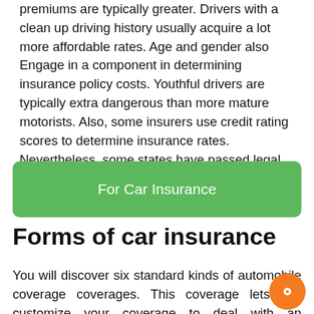premiums are typically greater. Drivers with a clean up driving history usually acquire a lot more affordable rates. Age and gender also Engage in a component in determining insurance policy costs. Youthful drivers are typically extra dangerous than more mature motorists. Also, some insurers use credit rating scores to determine insurance rates. Nevertheless, some states have passed legal guidelines prohibiting this sort of use.
[Figure (other): Green rounded button with white text reading 'For Car Insurance']
Forms of car insurance
You will discover six standard kinds of automobile coverage coverages. This coverage lets you customize your coverage to deal with an assortment of various scenarios. You can expect to also want to make certain that you've got liability